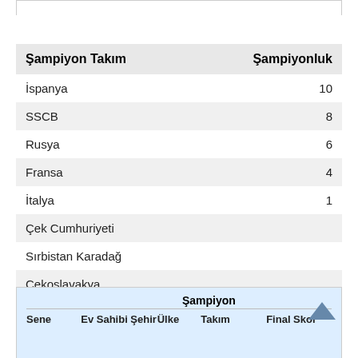| Şampiyon Takım | Şampiyonluk |
| --- | --- |
| İspanya | 10 |
| SSCB | 8 |
| Rusya | 6 |
| Fransa | 4 |
| İtalya | 1 |
| Çek Cumhuriyeti |  |
| Sırbistan Karadağ |  |
| Çekoslavakya |  |
| Sene | Ev Sahibi Şehir | Ülke | Şampiyon Takım | Final Skor |
| --- | --- | --- | --- | --- |